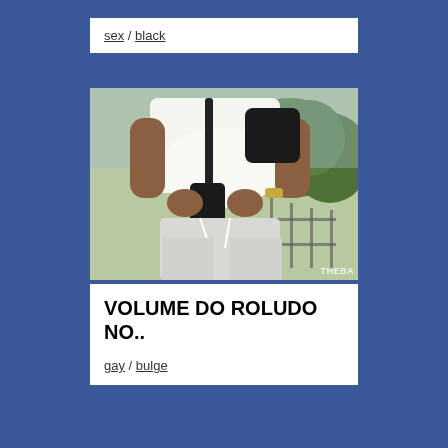sex / black
[Figure (photo): Person wearing white t-shirt and light grey sweatpants, holding a phone, with a black shoulder bag, standing outdoors near a fence with trees in background. Watermark reads THEBA.]
VOLUME DO ROLUDO NO..
gay / bulge